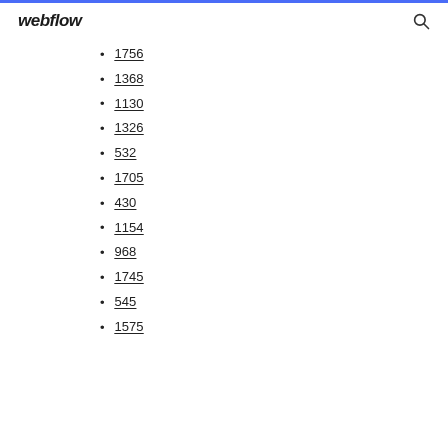webflow
1756
1368
1130
1326
532
1705
430
1154
968
1745
545
1575